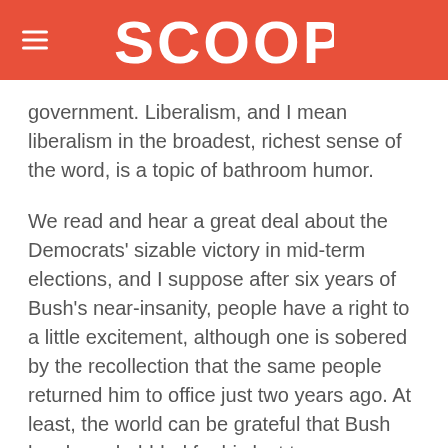SCOOP
government. Liberalism, and I mean liberalism in the broadest, richest sense of the word, is a topic of bathroom humor.
We read and hear a great deal about the Democrats' sizable victory in mid-term elections, and I suppose after six years of Bush's near-insanity, people have a right to a little excitement, although one is sobered by the recollection that the same people returned him to office just two years ago. At least, the world can be grateful that Bush has been hobbled for his last two years.